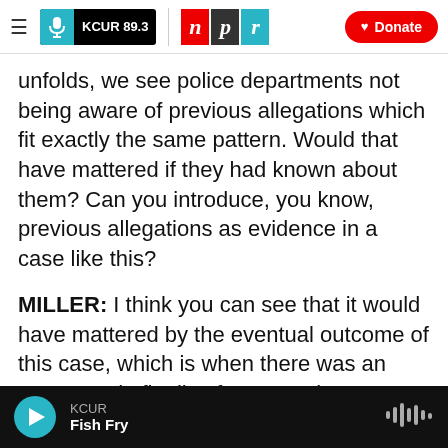KCUR 89.3 | npr | Donate
unfolds, we see police departments not being aware of previous allegations which fit exactly the same pattern. Would that have mattered if they had known about them? Can you introduce, you know, previous allegations as evidence in a case like this?
MILLER: I think you can see that it would have mattered by the eventual outcome of this case, which is when there was an arrest made finally of Darren Sharper, then all these other police agencies dust off their files and they see oh, we had a Darren Sharper incident too. And most of them began
KCUR | Fish Fry